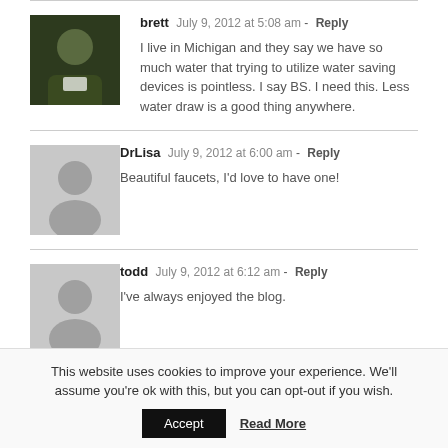brett  July 9, 2012 at 5:08 am - Reply
I live in Michigan and they say we have so much water that trying to utilize water saving devices is pointless. I say BS. I need this. Less water draw is a good thing anywhere.
DrLisa  July 9, 2012 at 6:00 am - Reply
Beautiful faucets, I'd love to have one!
todd  July 9, 2012 at 6:12 am - Reply
I've always enjoyed the blog.
This website uses cookies to improve your experience. We'll assume you're ok with this, but you can opt-out if you wish.